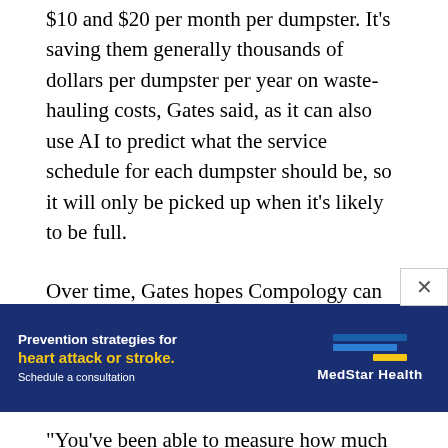$10 and $20 per month per dumpster. It's saving them generally thousands of dollars per dumpster per year on waste-hauling costs, Gates said, as it can also use AI to predict what the service schedule for each dumpster should be, so it will only be picked up when it's likely to be full.
Over time, Gates hopes Compology can help standardize how waste is measured and reported —something that isn't currently consistent in the US.
“You’ve been able to measure how much electri[city]... ies,” Gates...
[Figure (other): Advertisement banner for MedStar Health: 'Prevention strategies for heart attack or stroke. Schedule a consultation.' with MedStar Health logo with blue and yellow bars.]